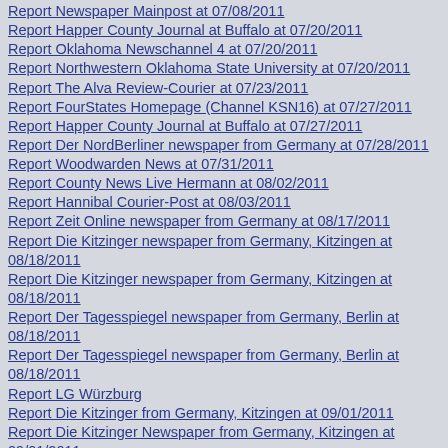Report Newspaper Mainpost at 07/08/2011
Report Happer County Journal at Buffalo at 07/20/2011
Report Oklahoma Newschannel 4 at 07/20/2011
Report Northwestern Oklahoma State University at 07/20/2011
Report The Alva Review-Courier at 07/23/2011
Report FourStates Homepage (Channel KSN16) at 07/27/2011
Report Happer County Journal at Buffalo at 07/27/2011
Report Der NordBerliner newspaper from Germany at 07/28/2011
Report Woodwarden News at 07/31/2011
Report County News Live Hermann at 08/02/2011
Report Hannibal Courier-Post at 08/03/2011
Report Zeit Online newspaper from Germany at 08/17/2011
Report Die Kitzinger newspaper from Germany, Kitzingen at 08/18/2011
Report Die Kitzinger newspaper from Germany, Kitzingen at 08/18/2011
Report Der Tagesspiegel newspaper from Germany, Berlin at 08/18/2011
Report Der Tagesspiegel newspaper from Germany, Berlin at 08/18/2011
Report LG Würzburg
Report Die Kitzinger from Germany, Kitzingen at 09/01/2011
Report Die Kitzinger Newspaper from Germany, Kitzingen at 09/01/2011
Report Der Märker newspaper from Germany, Kitzingen at 09/02/2011